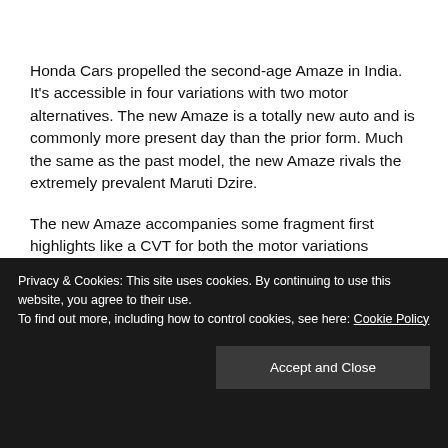Honda Cars propelled the second-age Amaze in India. It's accessible in four variations with two motor alternatives. The new Amaze is a totally new auto and is commonly more present day than the prior form. Much the same as the past model, the new Amaze rivals the extremely prevalent Maruti Dzire.
The new Amaze accompanies some fragment first highlights like a CVT for both the motor variations alongside voyage control and oar shifts. Notwithstanding, we have contrasted the new 2018 Honda Amaze and the
Privacy & Cookies: This site uses cookies. By continuing to use this website, you agree to their use.
To find out more, including how to control cookies, see here: Cookie Policy
comparison